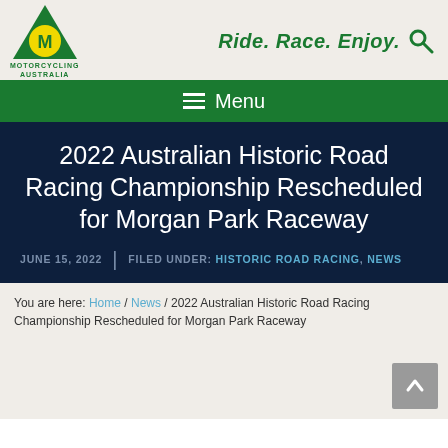[Figure (logo): Motorcycling Australia logo — green triangle with yellow circle containing stylized 'M' map of Australia, with text MOTORCYCLING AUSTRALIA below]
Ride. Race. Enjoy.
Menu
2022 Australian Historic Road Racing Championship Rescheduled for Morgan Park Raceway
JUNE 15, 2022 | FILED UNDER: HISTORIC ROAD RACING, NEWS
You are here: Home / News / 2022 Australian Historic Road Racing Championship Rescheduled for Morgan Park Raceway